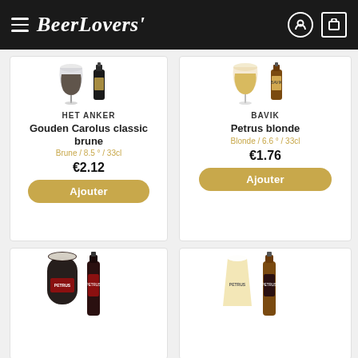BeerLovers
[Figure (photo): Beer bottle and glass for Gouden Carolus classic brune - Het Anker]
HET ANKER
Gouden Carolus classic brune
Brune / 8.5° / 33cl
€2.12
Ajouter
[Figure (photo): Beer bottle and glass for Petrus blonde - Bavik]
BAVIK
Petrus blonde
Blonde / 6.6° / 33cl
€1.76
Ajouter
[Figure (photo): Petrus dark beer glass and bottle - bottom left card]
[Figure (photo): Petrus beer glass and bottle - bottom right card]